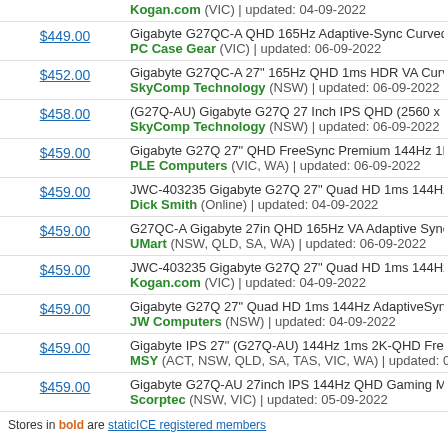Kogan.com (VIC) | updated: 04-09-2022
$449.00 — Gigabyte G27QC-A QHD 165Hz Adaptive-Sync Curved 2… PC Case Gear (VIC) | updated: 06-09-2022
$452.00 — Gigabyte G27QC-A 27" 165Hz QHD 1ms HDR VA Curved… SkyComp Technology (NSW) | updated: 06-09-2022
$458.00 — (G27Q-AU) Gigabyte G27Q 27 Inch IPS QHD (2560 x 14… SkyComp Technology (NSW) | updated: 06-09-2022
$459.00 — Gigabyte G27Q 27" QHD FreeSync Premium 144Hz 1MS… PLE Computers (VIC, WA) | updated: 06-09-2022
$459.00 — JWC-403235 Gigabyte G27Q 27" Quad HD 1ms 144Hz A… Dick Smith (Online) | updated: 04-09-2022
$459.00 — G27QC-A Gigabyte 27in QHD 165Hz VA Adaptive Sync C… UMart (NSW, QLD, SA, WA) | updated: 06-09-2022
$459.00 — JWC-403235 Gigabyte G27Q 27" Quad HD 1ms 144Hz A… Kogan.com (VIC) | updated: 04-09-2022
$459.00 — Gigabyte G27Q 27" Quad HD 1ms 144Hz AdaptiveSync (… JW Computers (NSW) | updated: 04-09-2022
$459.00 — Gigabyte IPS 27" (G27Q-AU) 144Hz 1ms 2K-QHD FreeS… MSY (ACT, NSW, QLD, SA, TAS, VIC, WA) | updated: 06…
$459.00 — Gigabyte G27Q-AU 27inch IPS 144Hz QHD Gaming Mon… Scorptec (NSW, VIC) | updated: 05-09-2022
Stores in bold are staticICE registered members